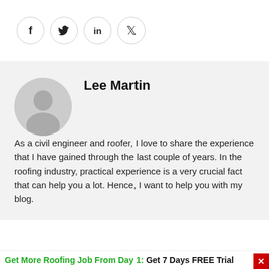[Figure (infographic): Social media share icons in circles: Facebook (f), Twitter (bird), LinkedIn (in), Pinterest (P)]
[Figure (illustration): Generic gray avatar/profile silhouette icon in a circle]
Lee Martin
As a civil engineer and roofer, I love to share the experience that I have gained through the last couple of years. In the roofing industry, practical experience is a very crucial fact that can help you a lot. Hence, I want to help you with my blog.
Get More Roofing Job From Day 1: Get 7 Days FREE Trial